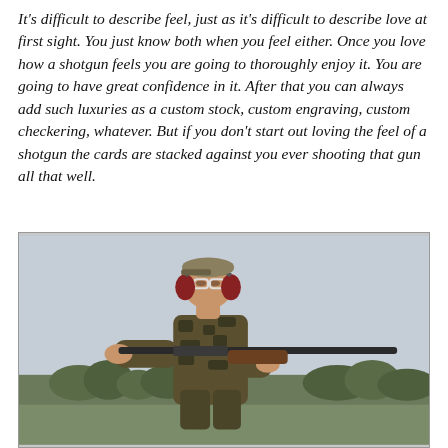It's difficult to describe feel, just as it's difficult to describe love at first sight. You just know both when you feel either. Once you love how a shotgun feels you are going to thoroughly enjoy it. You are going to have great confidence in it. After that you can always add such luxuries as a custom stock, custom engraving, custom checkering, whatever. But if you don't start out loving the feel of a shotgun the cards are stacked against you ever shooting that gun all that well.
[Figure (photo): A man wearing camouflage clothing, a baseball cap, ear protection, and glasses, aiming a shotgun to the right. Outdoors with overcast sky and trees in the background.]